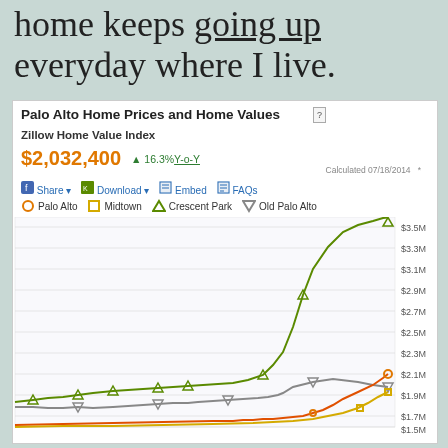home keeps going up everyday where I live.
[Figure (line-chart): Line chart showing Palo Alto home prices and home values over time for four neighborhoods: Palo Alto, Midtown, Crescent Park, and Old Palo Alto. Values range from approximately $1.5M to $3.5M+. Crescent Park shows a dramatic spike to ~$3.5M at the far right end of the chart.]